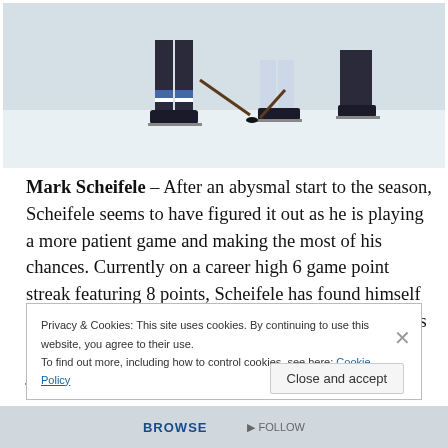[Figure (photo): Hockey players on ice, partial view showing legs/skates from two players competing for the puck]
Mark Scheifele – After an abysmal start to the season, Scheifele seems to have figured it out as he is playing a more patient game and making the most of his chances. Currently on a career high 6 game point streak featuring 8 points, Scheifele has found himself on a line with Evander Kane and looks to continue his scoring ways with more minutes.  With ownership at just 10% in Yahoo leagues,
Privacy & Cookies: This site uses cookies. By continuing to use this website, you agree to their use.
To find out more, including how to control cookies, see here: Cookie Policy
Close and accept